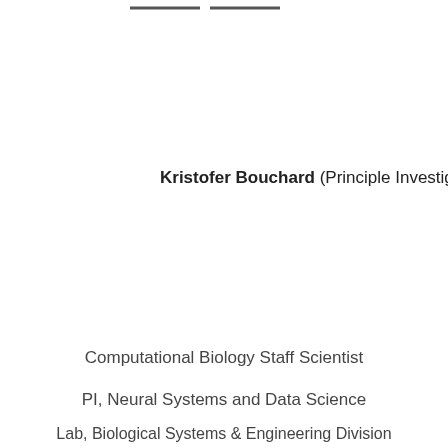Kristofer Bouchard (Principle Investigator)
Computational Biology Staff Scientist
PI, Neural Systems and Data Science
Lab, Biological Systems & Engineering Division